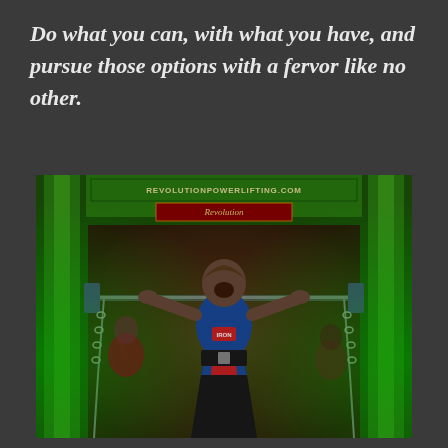Do what you can, with what you have, and pursue those options with a fervor like no other.
[Figure (photo): A powerlifter wearing a blue and red singlet with a black belt, screaming intensely while under a barbell in a green metal squat rack. The rack has a banner reading REVOLUTIONPOWERLIFTING.COM and a red sign saying Revolution. Chains hang from the bar. The background shows a colorful mural. Green lighting illuminates the rack.]